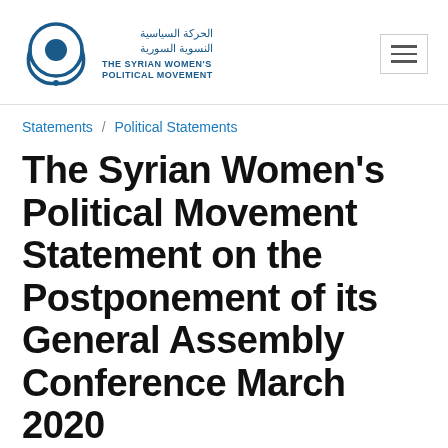The Syrian Women's Political Movement
Statements / Political Statements
The Syrian Women's Political Movement Statement on the Postponement of its General Assembly Conference March 2020
By: Mona Katoub | updated: March 16, 2020 | reading time: 1 Minute and 30 seconds